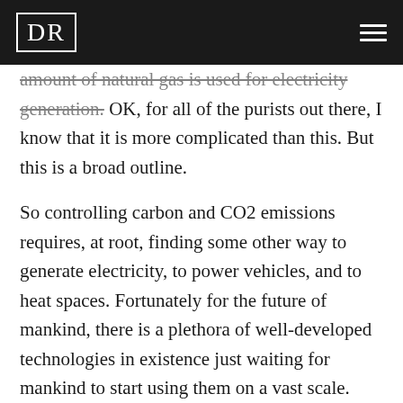DR
amount of natural gas is used for electricity generation. OK, for all of the purists out there, I know that it is more complicated than this. But this is a broad outline.
So controlling carbon and CO2 emissions requires, at root, finding some other way to generate electricity, to power vehicles, and to heat spaces. Fortunately for the future of mankind, there is a plethora of well-developed technologies in existence just waiting for mankind to start using them on a vast scale. The big problem is getting past the inertia of previous ways of doing things. Following the script of the ASPO-USA conference, I will discuss solar and solar photovoltaic electricity production, as well as wind power.